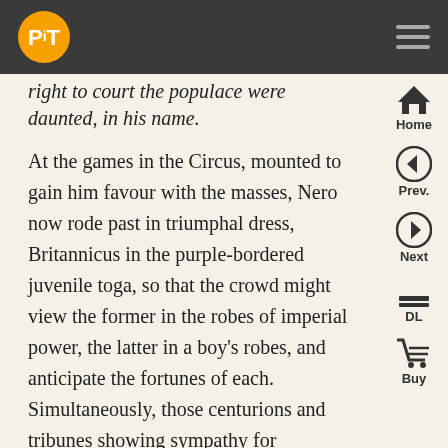PiT logo and navigation bar
right to court the populace were daunted, in his name.
At the games in the Circus, mounted to gain him favour with the masses, Nero now rode past in triumphal dress, Britannicus in the purple-bordered juvenile toga, so that the crowd might view the former in the robes of imperial power, the latter in a boy's robes, and anticipate the fortunes of each. Simultaneously, those centurions and tribunes showing sympathy for Britannicus' fate were removed, some for wholly fictitious reasons, others in the guise of promotion.